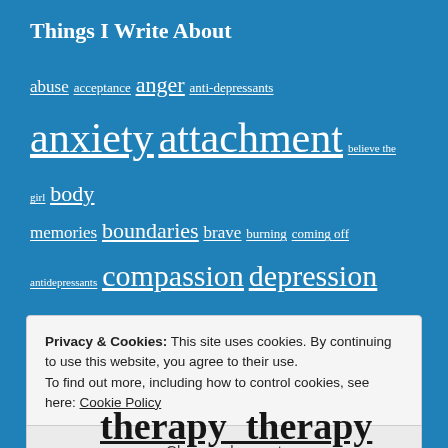Things I Write About
abuse acceptance anger anti-depressants anxiety attachment believe the girl body memories boundaries brave burning coming off antidepressants compassion depression doubt Effexor father fear healing healing shame healing trauma health hope husband inner child letter loneliness long-term effects long-term effects of...
Privacy & Cookies: This site uses cookies. By continuing to use this website, you agree to their use.
To find out more, including how to control cookies, see here: Cookie Policy
Close and accept
therapy therapy